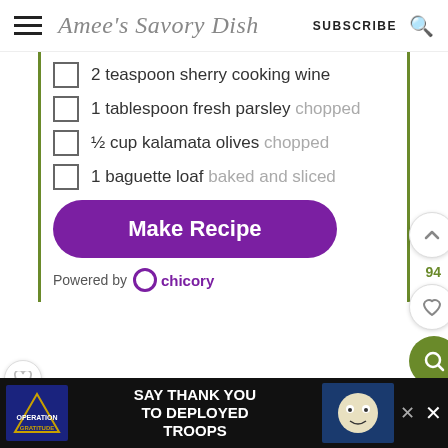Amee's Savory Dish  SUBSCRIBE
2 teaspoon sherry cooking wine
1 tablespoon fresh parsley chopped
½ cup kalamata olives chopped
1 baguette loaf baked and sliced
Make Recipe
Powered by chicory
[Figure (screenshot): Ad banner: Operation Gratitude - SAY THANK YOU TO DEPLOYED TROOPS]
94